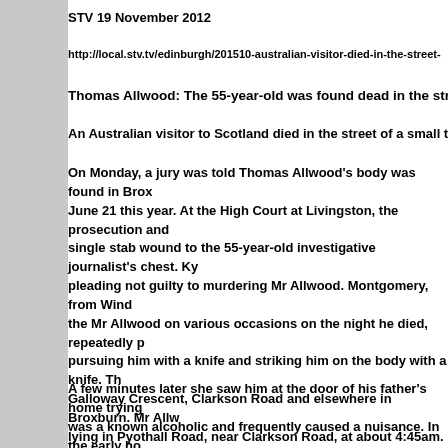STV 19 November 2012
http://local.stv.tv/edinburgh/201510-australian-visitor-died-in-the-street-
Thomas Allwood: The 55-year-old was found dead in the street.
An Australian visitor to Scotland died in the street of a small town after
On Monday, a jury was told Thomas Allwood's body was found in Brox June 21 this year. At the High Court at Livingston, the prosecution and single stab wound to the 55-year-old investigative journalist's chest. Ky pleading not guilty to murdering Mr Allwood. Montgomery, from Wind the Mr Allwood on various occasions on the night he died, repeatedly p pursuing him with a knife and striking him on the body with a knife. T Galloway Crescent, Clarkson Road and elsewhere in Broxburn. Mr All lying in Pyothall Road, near Clarkson Road, at about 4:45am. June Do Montgomery's father Robert in Galloway Crescent, said she saw the ac 20 carrying a bag which she assumed contained alcohol.
A few minutes later she saw him at the door of his father's home trying was a known alcoholic and frequently caused a nuisance. In the early h she said she was startled by a loud bang on the wall of her bedroom jus